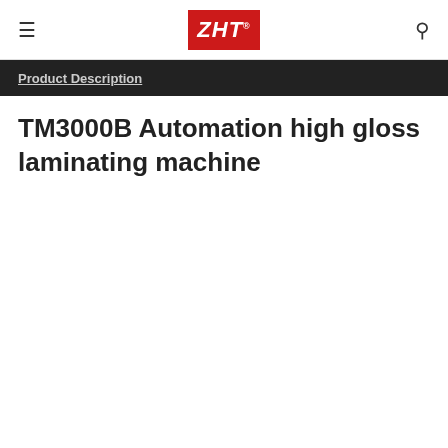ZHT (logo)
Product Description
TM3000B Automation high gloss laminating machine